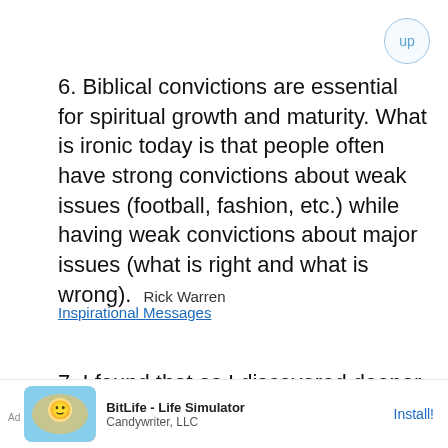6. Biblical convictions are essential for spiritual growth and maturity. What is ironic today is that people often have strong convictions about weak issues (football, fashion, etc.) while having weak convictions about major issues (what is right and what is wrong). Rick Warren
Inspirational Messages
7. I found that as I discovered deeper levels of peace, health, joy and passion in myself, I naturally became inspired to support others to find and create the same for themselves. Blake Bauer, You Were Not Born to Suffer
[Figure (other): Advertisement banner for BitLife - Life Simulator by Candywriter, LLC with Install button]